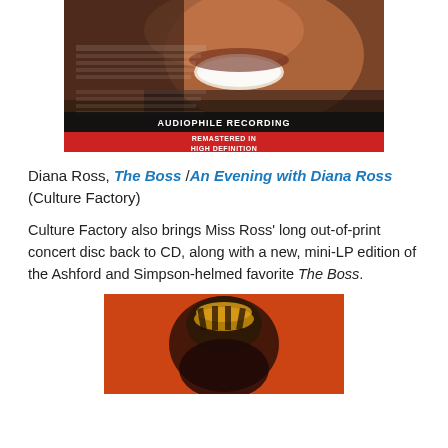[Figure (photo): Album cover for 'An Evening with Diana Ross' showing a close-up of Diana Ross's face with text overlay including 'AUDIOPHILE RECORDING' and 'REMASTERED IN HIGH DEFINITION']
Diana Ross, The Boss /An Evening with Diana Ross (Culture Factory)
Culture Factory also brings Miss Ross' long out-of-print concert disc back to CD, along with a new, mini-LP edition of the Ashford and Simpson-helmed favorite The Boss.
[Figure (photo): Album cover for 'The Boss' by Diana Ross showing Diana Ross on an orange/red background]